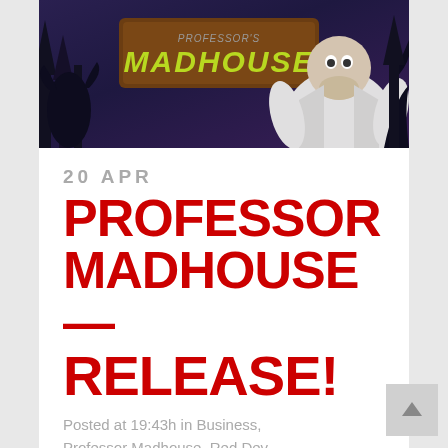[Figure (illustration): Professor Madhouse game cover art showing dark purple/navy background with silhouetted trees and creature figures. A wooden sign reads 'PROFESSOR MADHOUSE' in green stylized text. A large character figure visible on the right side.]
20 APR
PROFESSOR MADHOUSE – RELEASE!
Posted at 19:43h in Business, Professor Madhouse, Red Dev Studio · Share